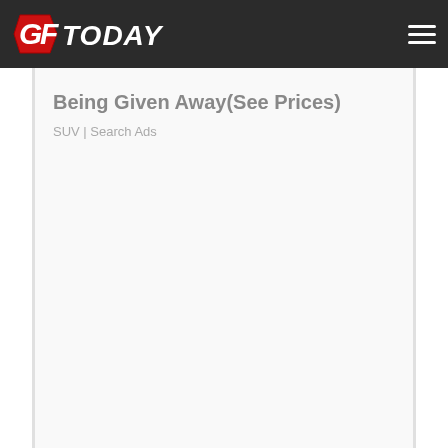GFToday
Being Given Away(See Prices)
SUV | Search Ads